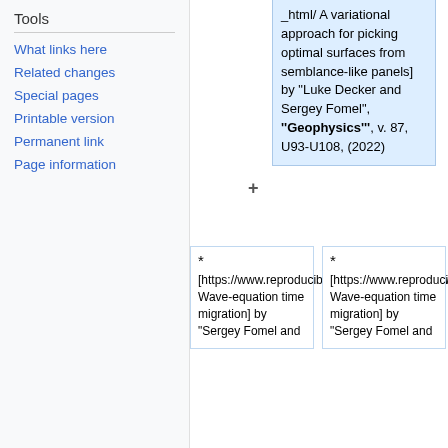Tools
What links here
Related changes
Special pages
Printable version
Permanent link
Page information
_html/ A variational approach for picking optimal surfaces from semblance-like panels] by "Luke Decker and Sergey Fomel", '''Geophysics''', v. 87, U93-U108, (2022)
* [https://www.reproducibility.org/RSF/book/tccs/wetm/paper_html/ Wave-equation time migration] by "Sergey Fomel and
* [https://www.reproducibility.org/RSF/book/tccs/wetm/paper_html/ Wave-equation time migration] by "Sergey Fomel and